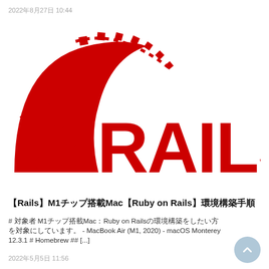2022年8月27日 10:44
[Figure (logo): Ruby on Rails logo — red diamond/road curve shape with dashed arc and bold red RAILS text]
【Rails】M1チップ搭載Mac【Ruby on Rails】環境構築手順
# 対象者 M1チップ搭載Mac：Ruby on Railsの環境構築をしたい方を対象にしています。 - MacBook Air (M1, 2020) - macOS Monterey 12.3.1 # Homebrew ## [...]
2022年5月5日 11:56